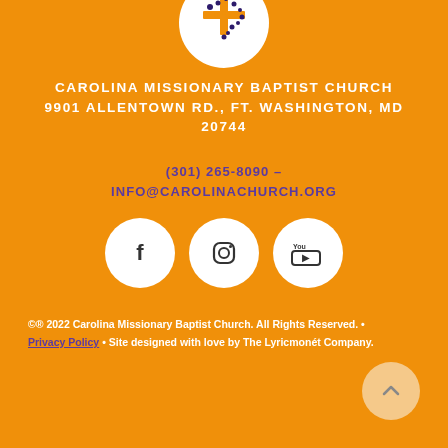[Figure (logo): Cross logo with dots inside a white circle — Carolina Missionary Baptist Church logo]
CAROLINA MISSIONARY BAPTIST CHURCH 9901 ALLENTOWN RD., FT. WASHINGTON, MD 20744
(301) 265-8090 – INFO@CAROLINACHURCH.ORG
[Figure (other): Social media icons: Facebook, Instagram, YouTube — each in a white circle on orange background]
©® 2022 Carolina Missionary Baptist Church. All Rights Reserved. • Privacy Policy • Site designed with love by The Lyricmonét Company.